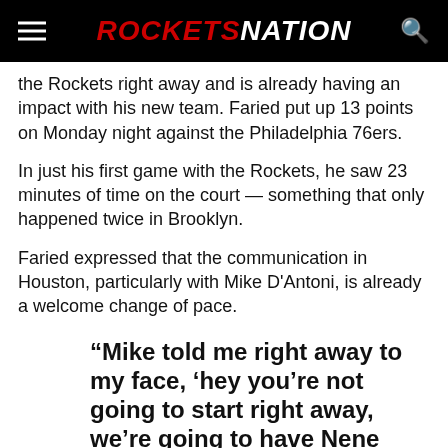ROCKETSNATION
the Rockets right away and is already having an impact with his new team. Faried put up 13 points on Monday night against the Philadelphia 76ers.
In just his first game with the Rockets, he saw 23 minutes of time on the court — something that only happened twice in Brooklyn.
Faried expressed that the communication in Houston, particularly with Mike D'Antoni, is already a welcome change of pace.
“Mike told me right away to my face, ‘hey you’re not going to start right away, we’re going to have Nene start, but you’re going to play. So be ready to play. And you may